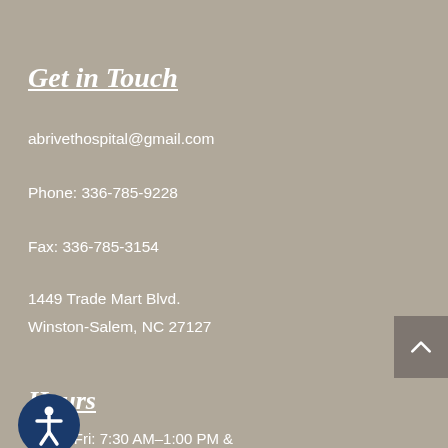Get in Touch
abrivethospital@gmail.com
Phone: 336-785-9228
Fax: 336-785-3154
1449 Trade Mart Blvd.
Winston-Salem, NC 27127
Hours
Mon – Fri: 7:30 AM–1:00 PM & 1:00 M – 6:00 PM
Sat – Sun: Closed